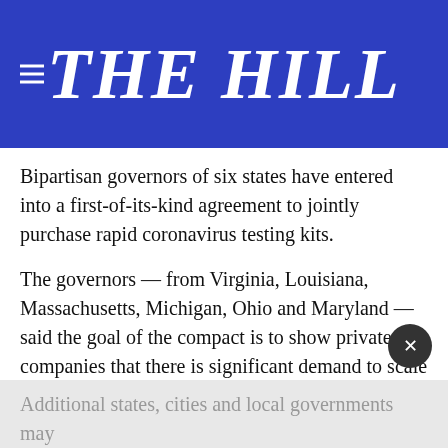THE HILL
Bipartisan governors of six states have entered into a first-of-its-kind agreement to jointly purchase rapid coronavirus testing kits.
The governors — from Virginia, Louisiana, Massachusetts, Michigan, Ohio and Maryland — said the goal of the compact is to show private companies that there is significant demand to scale up the production of these tests, which deliver results in 15 to 20 minutes.
The states will also coordinate on policies and protocols regarding the testing technology.
Additional states, cities and local governments may join the compact in the coming days and weeks, the